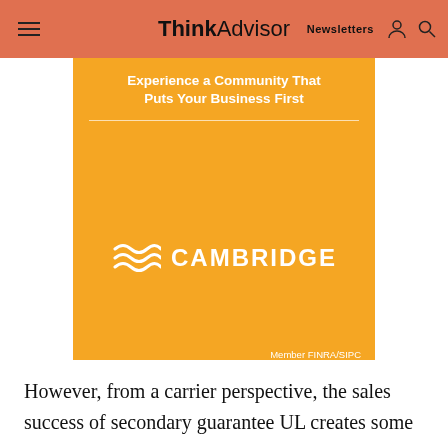ThinkAdvisor Newsletters
[Figure (logo): Cambridge Investment Research advertisement on orange/yellow background. Text reads: Experience a Community That Puts Your Business First. Cambridge logo with wave symbol. Member FINRA/SIPC.]
However, from a carrier perspective, the sales success of secondary guarantee UL creates some